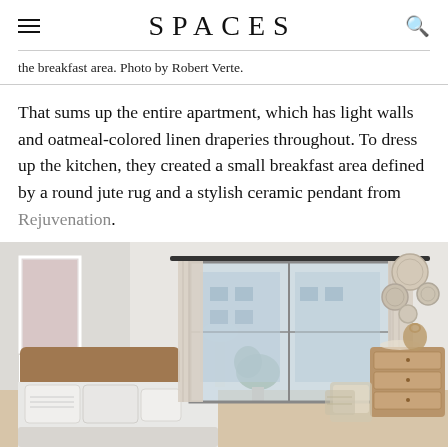SPACES
the breakfast area. Photo by Robert Verte.
That sums up the entire apartment, which has light walls and oatmeal-colored linen draperies throughout. To dress up the kitchen, they created a small breakfast area defined by a round jute rug and a stylish ceramic pendant from Rejuvenation.
[Figure (photo): A bright, airy bedroom with white bedding, a woven leather headboard, linen curtains on a large window, a wooden dresser, and decorative woven plates on the wall.]